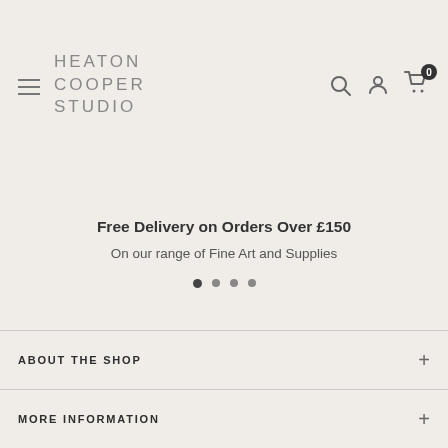HEATON COOPER STUDIO
Free Delivery on Orders Over £150
On our range of Fine Art and Supplies
ABOUT THE SHOP
MORE INFORMATION
HELPFUL LINKS
NEWSLETTER